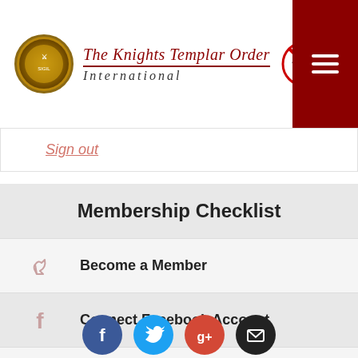The Knights Templar Order International
Sign out
Membership Checklist
Become a Member
Connect Facebook Account
Connect Twitter Account
Add Your Email
Add Your Postal Code
Make a Donation